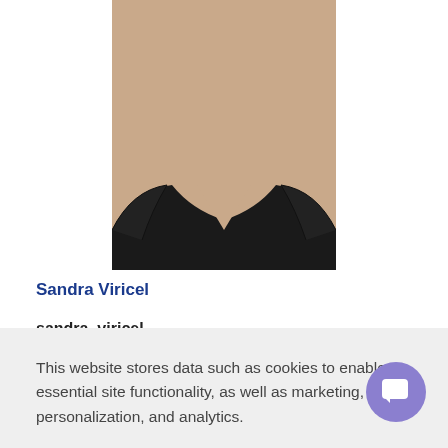[Figure (photo): Profile photo of a person wearing a black top, shown from neck down, displayed in a circular crop]
Sandra Viricel
sandra_viricel
49471
This website stores data such as cookies to enable essential site functionality, as well as marketing, personalization, and analytics.
Privacy Policy
Accept
Deny